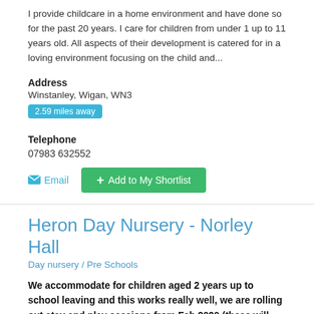I provide childcare in a home environment and have done so for the past 20 years. I care for children from under 1 up to 11 years old. All aspects of their development is catered for in a loving environment focusing on the child and...
Address
Winstanley, Wigan, WN3
2.59 miles away
Telephone
07983 632552
Email
+ Add to My Shortlist
Heron Day Nursery - Norley Hall
Day nursery / Pre Schools
We accommodate for children aged 2 years up to school leaving and this works really well, we are rolling out stay and play sessions from Feb 2020 (these will continue when it is safe to do so) and will aim at these once a month with a focus on certain areas of development linking this in with celebrations. We believe in good positive, parent and